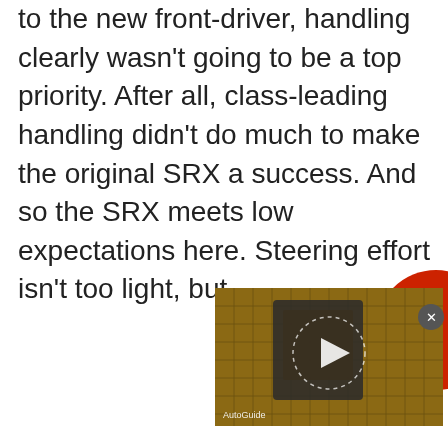to the new front-driver, handling clearly wasn't going to be a top priority. After all, class-leading handling didn't do much to make the original SRX a success. And so the SRX meets low expectations here. Steering effort isn't too light, but
[Figure (screenshot): Video thumbnail with golden/brown grid background and a play button, labeled 'AutoGuide' at bottom left. A red circle and close button appear in the top-right corner of the overlay.]